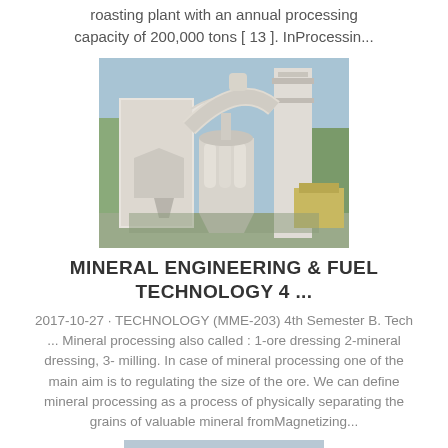roasting plant with an annual processing capacity of 200,000 tons [ 13 ]. InProcessin...
[Figure (photo): Industrial mineral processing machinery - mill or roasting plant equipment with pipes and silos, photographed outdoors in winter]
MINERAL ENGINEERING & FUEL TECHNOLOGY 4 ...
2017-10-27 · TECHNOLOGY (MME-203) 4th Semester B. Tech ... Mineral processing also called : 1-ore dressing 2-mineral dressing, 3-milling. In case of mineral processing one of the main aim is to regulating the size of the ore. We can define mineral processing as a process of physically separating the grains of valuable mineral fromMagnetizing...
[Figure (photo): Partial view of another industrial equipment or machinery image, cropped at bottom of page]